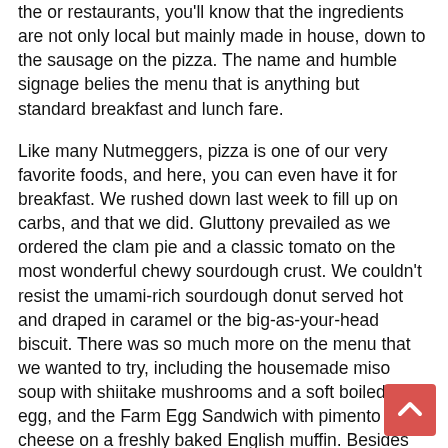the or restaurants, you'll know that the ingredients are not only local but mainly made in house, down to the sausage on the pizza. The name and humble signage belies the menu that is anything but standard breakfast and lunch fare.
Like many Nutmeggers, pizza is one of our very favorite foods, and here, you can even have it for breakfast. We rushed down last week to fill up on carbs, and that we did. Gluttony prevailed as we ordered the clam pie and a classic tomato on the most wonderful chewy sourdough crust. We couldn't resist the umami-rich sourdough donut served hot and draped in caramel or the big-as-your-head biscuit. There was so much more on the menu that we wanted to try, including the housemade miso soup with shiitake mushrooms and a soft boiled farm egg, and the Farm Egg Sandwich with pimento cheese on a freshly baked English muffin. Besides the usual lineup of espresso drinks, interesting concoctions include the Oaxaca, a spicy and warming blend of espresso, piloncillo, dark chocolate